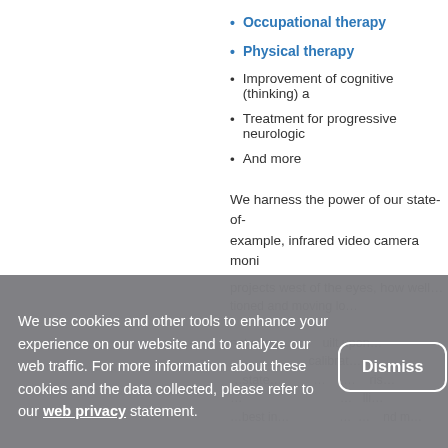Occupational therapy
Physical therapy
Improvement of cognitive (thinking) a…
Treatment for progressive neurologic…
And more
We harness the power of our state-of-… example, infrared video camera moni…
We use cookies and other tools to enhance your experience on our website and to analyze our web traffic. For more information about these cookies and the data collected, please refer to our web privacy statement.